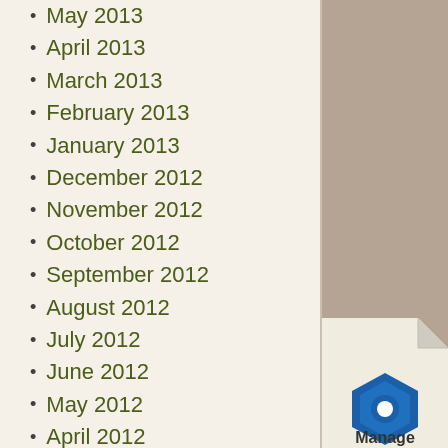May 2013
April 2013
March 2013
February 2013
January 2013
December 2012
November 2012
October 2012
September 2012
August 2012
July 2012
June 2012
May 2012
April 2012
March 2012
February 2012
[Figure (logo): Manage logo with page curl effect in bottom right corner]